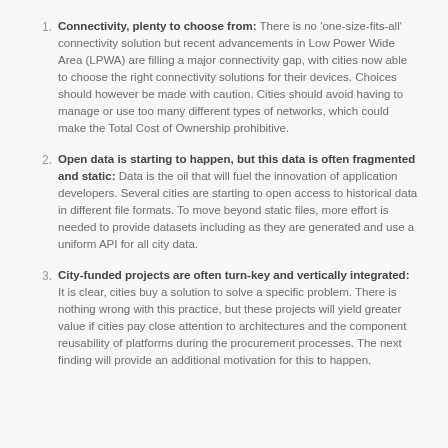Connectivity, plenty to choose from: There is no 'one-size-fits-all' connectivity solution but recent advancements in Low Power Wide Area (LPWA) are filling a major connectivity gap, with cities now able to choose the right connectivity solutions for their devices. Choices should however be made with caution. Cities should avoid having to manage or use too many different types of networks, which could make the Total Cost of Ownership prohibitive.
Open data is starting to happen, but this data is often fragmented and static: Data is the oil that will fuel the innovation of application developers. Several cities are starting to open access to historical data in different file formats. To move beyond static files, more effort is needed to provide datasets including as they are generated and use a uniform API for all city data.
City-funded projects are often turn-key and vertically integrated: It is clear, cities buy a solution to solve a specific problem. There is nothing wrong with this practice, but these projects will yield greater value if cities pay close attention to architectures and the component reusability of platforms during the procurement processes. The next finding will provide an additional motivation for this to happen.